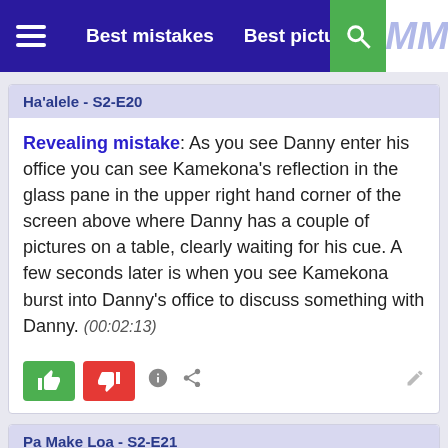Best mistakes  Best pictures
Ha'alele - S2-E20
Revealing mistake: As you see Danny enter his office you can see Kamekona's reflection in the glass pane in the upper right hand corner of the screen above where Danny has a couple of pictures on a table, clearly waiting for his cue. A few seconds later is when you see Kamekona burst into Danny's office to discuss something with Danny. (00:02:13)
Pa Make Loa - S2-E21
Continuity mistake: When he picks up the NCIS agents at the airfield, Danny drives his car up behind the plane